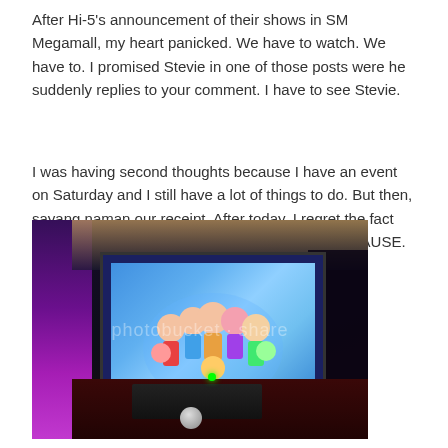After Hi-5's announcement of their shows in SM Megamall, my heart panicked. We have to watch. We have to. I promised Stevie in one of those posts were he suddenly replies to your comment. I have to see Stevie.
I was having second thoughts because I have an event on Saturday and I still have a lot of things to do. But then, sayang naman our receipt. After today, I regret the fact that I had seconds thoughts about watching. BECAUSE. EVERYTHING. WAS. SURREAL.
[Figure (photo): Indoor event photo showing a large display screen on a stage with Hi-5 promotional imagery, taken in a mall with ceiling lights visible. Stage has red flooring, dark podium, and a microphone ball stand. A watermark from Photobucket is overlaid on the image.]